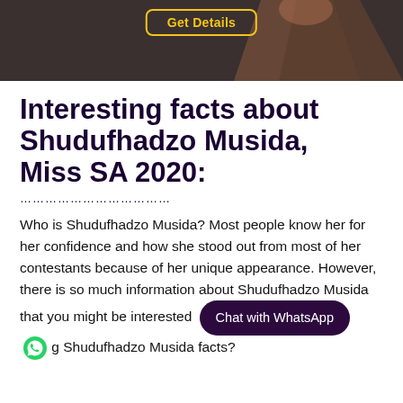[Figure (photo): Banner image showing a person's arm against a dark background, with a yellow-bordered 'Get Details' button overlay]
Interesting facts about Shudufhadzo Musida, Miss SA 2020:
Who is Shudufhadzo Musida? Most people know her for her confidence and how she stood out from most of her contestants because of her unique appearance. However, there is so much information about Shudufhadzo Musida that you might be interested in. Want to know about Shudufhadzo Musida facts?